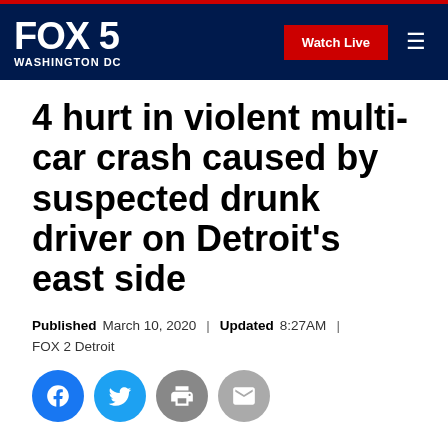FOX 5 WASHINGTON DC | Watch Live
4 hurt in violent multi-car crash caused by suspected drunk driver on Detroit's east side
Published March 10, 2020 | Updated 8:27AM | FOX 2 Detroit
[Figure (other): Social sharing icons: Facebook, Twitter, Print, Email]